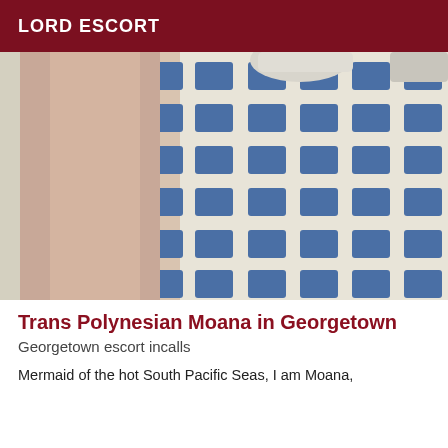LORD ESCORT
[Figure (photo): Close-up photo showing a person's arm/leg next to a blue and white patterned fabric, with white heels visible at the top]
Trans Polynesian Moana in Georgetown
Georgetown escort incalls
Mermaid of the hot South Pacific Seas, I am Moana,